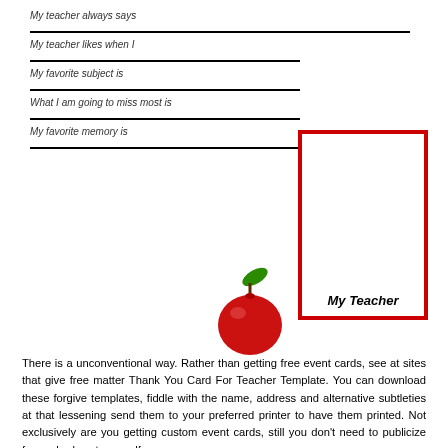My teacher always says
My teacher likes when I
My favorite subject is
What I am going to miss most is
My favorite memory is
[Figure (illustration): Red apple with green leaf illustration]
[Figure (other): Red-bordered photo box labeled 'My Teacher']
There is a unconventional way. Rather than getting free event cards, see at sites that give free matter Thank You Card For Teacher Template. You can download these forgive templates, fiddle with the name, address and alternative subtleties at that lessening send them to your preferred printer to have them printed. Not exclusively are you getting custom event cards, still you don't need to publicize for anybody yet yourself.